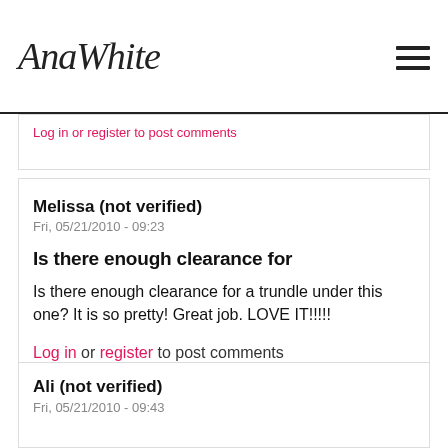AnaWhite
Log in or register to post comments
Melissa (not verified)
Fri, 05/21/2010 - 09:23
Is there enough clearance for
Is there enough clearance for a trundle under this one? It is so pretty! Great job. LOVE IT!!!!!
Log in or register to post comments
Ali (not verified)
Fri, 05/21/2010 - 09:43